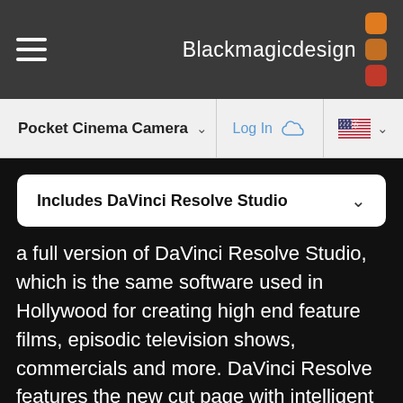[Figure (logo): Blackmagic Design logo with hamburger menu icon on the left and company name with colored square dots on the right, on a dark grey background.]
Pocket Cinema Camera   Log In   [US flag]
Includes DaVinci Resolve Studio
a full version of DaVinci Resolve Studio, which is the same software used in Hollywood for creating high end feature films, episodic television shows, commercials and more. DaVinci Resolve features the new cut page with intelligent editing tools and innovative new features designed to help you quickly find the footage you want, edit it together and output it fast. In addition to the new cut page, you also get DaVinci's legendary